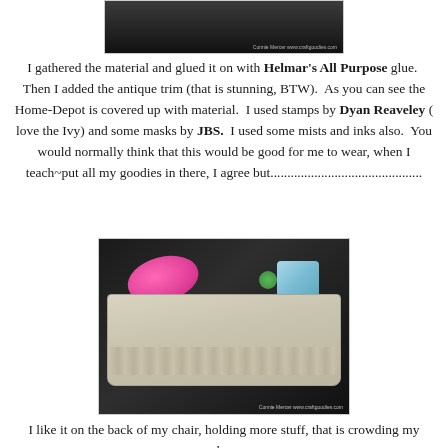[Figure (photo): Top portion of a decorated bag or apron, dark background, partially visible]
I gathered the material and glued it on with Helmar's All Purpose glue. Then I added the antique trim (that is stunning, BTW). As you can see the Home-Depot is covered up with material. I used stamps by Dyan Reaveley ( love the Ivy) and some masks by JBS. I used some mists and inks also. You would normally think that this would be good for me to wear, when I teach~put all my goodies in there, I agree but.............................................
[Figure (photo): A decorated fabric bag or organizer filled with craft supplies including a pink tape measure, colorful packages, and other items, hanging on what appears to be a chair]
I like it on the back of my chair, holding more stuff, that is crowding my work area.